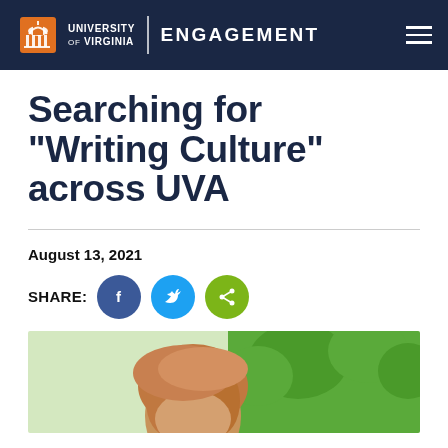University of Virginia | ENGAGEMENT
Searching for “Writing Culture” across UVA
August 13, 2021
SHARE:
[Figure (photo): Photo of a person with auburn hair outdoors with green trees in the background]